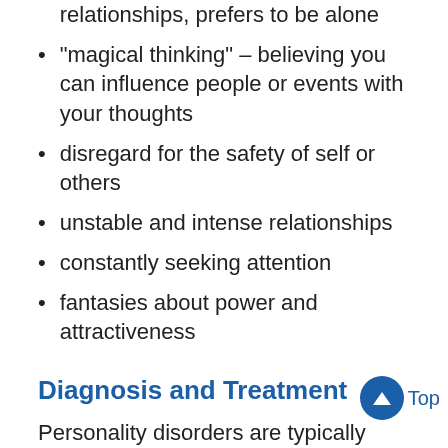relationships, prefers to be alone
“magical thinking” – believing you can influence people or events with your thoughts
disregard for the safety of self or others
unstable and intense relationships
constantly seeking attention
fantasies about power and attractiveness
Diagnosis and Treatment
Personality disorders are typically diagnosed by mental health professionals such as psychiatrists or